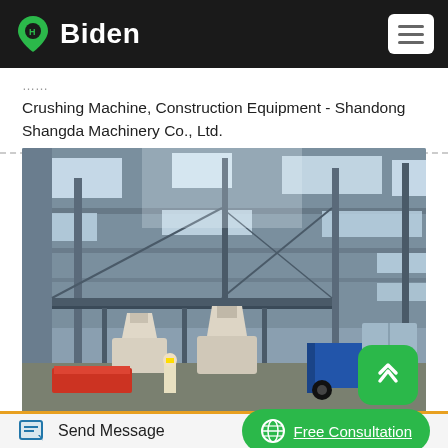Biden
Crushing Machine, Construction Equipment - Shandong Shangda Machinery Co., Ltd.
[Figure (photo): Interior of a large industrial warehouse/factory with steel frame structure, skylights, and heavy machinery including cone crushers and a forklift on the factory floor.]
Send Message
Free Consultation